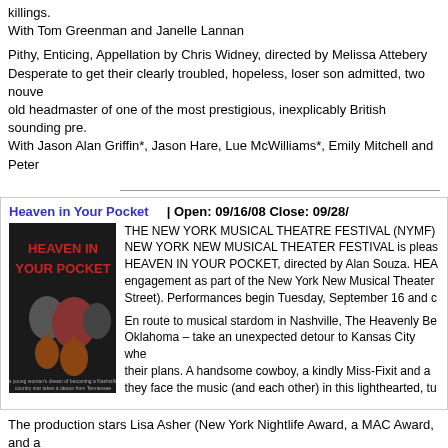killings.
With Tom Greenman and Janelle Lannan
Pithy, Enticing, Appellation by Chris Widney, directed by Melissa Attebery
Desperate to get their clearly troubled, hopeless, loser son admitted, two nouveau old headmaster of one of the most prestigious, inexplicably British sounding pre.
With Jason Alan Griffin*, Jason Hare, Lue McWilliams*, Emily Mitchell and Peter
Heaven in Your Pocket    | Open: 09/16/08 Close: 09/28/
[Figure (photo): Poster/promotional image for 'Heaven in Your Pocket' showing performers with guitars against a dark background]
THE NEW YORK MUSICAL THEATRE FESTIVAL (NYMF)
NEW YORK NEW MUSICAL THEATER FESTIVAL is pleased to present
HEAVEN IN YOUR POCKET, directed by Alan Souza. HEA engagement as part of the New York New Musical Theater Street). Performances begin Tuesday, September 16 and c

En route to musical stardom in Nashville, The Heavenly Be Oklahoma – take an unexpected detour to Kansas City whe their plans. A handsome cowboy, a kindly Miss-Fixit and a they face the music (and each other) in this lighthearted, tu
The production stars Lisa Asher (New York Nightlife Award, a MAC Award, and a Chuck Saculla (Bdwy: Aida and Dirty Rotten Scoundrels) as Sam, stars Claire S
The production features scenic design by Tim McMath, costume design by Davi Swope. Aaron Blank is the sound designer, Jenny Lee Mitchell is the Producer's stage manager.
Penny Penniworth    | Open: 02/29/16 Close: 02/29/16
The Off-Broadway Hit! New York Theater with Risk Features To Fla...